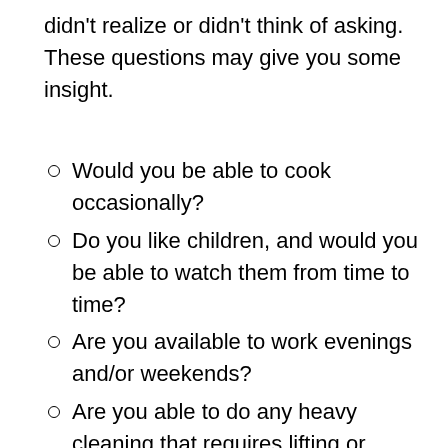didn't realize or didn't think of asking. These questions may give you some insight.
Would you be able to cook occasionally?
Do you like children, and would you be able to watch them from time to time?
Are you available to work evenings and/or weekends?
Are you able to do any heavy cleaning that requires lifting or moving